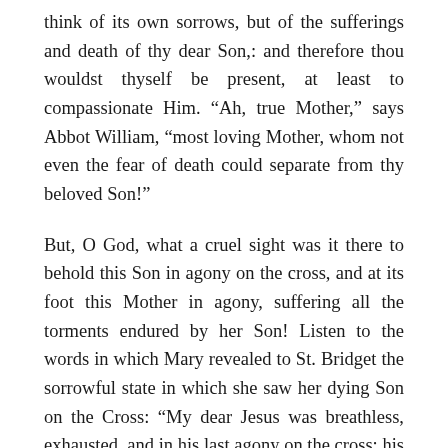think of its own sorrows, but of the sufferings and death of thy dear Son,: and therefore thou wouldst thyself be present, at least to compassionate Him. “Ah, true Mother,” says Abbot William, “most loving Mother, whom not even the fear of death could separate from thy beloved Son!”
But, O God, what a cruel sight was it there to behold this Son in agony on the cross, and at its foot this Mother in agony, suffering all the torments endured by her Son! Listen to the words in which Mary revealed to St. Bridget the sorrowful state in which she saw her dying Son on the Cross: “My dear Jesus was breathless, exhausted, and in his last agony on the cross; his eyes were